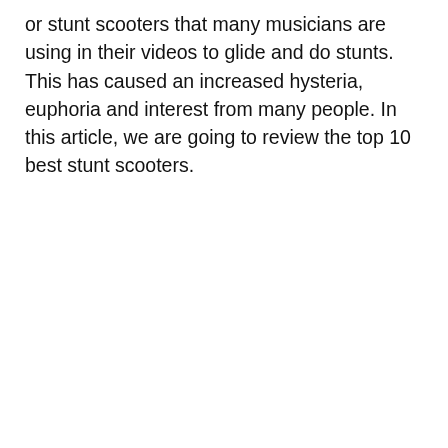or stunt scooters that many musicians are using in their videos to glide and do stunts. This has caused an increased hysteria, euphoria and interest from many people. In this article, we are going to review the top 10 best stunt scooters.